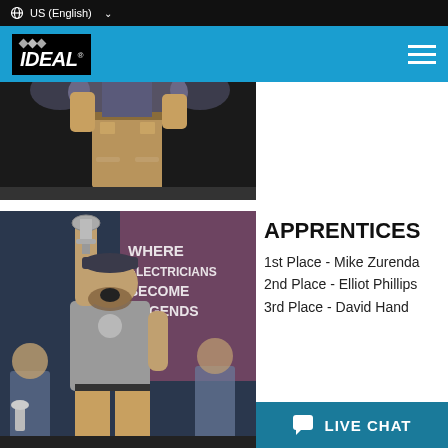US (English)
[Figure (logo): IDEAL brand logo — white text on black background with diamond shapes above the text]
[Figure (photo): Stage photo showing person's lower body (tan cargo pants) standing on a stage with bright lighting and dark background]
[Figure (photo): Person celebrating holding a trophy above their head in front of a banner reading WHERE ELECTRICIANS BECOME LEGENDS]
APPRENTICES
1st Place - Mike Zurenda
2nd Place - Elliot Phillips
3rd Place - David Hand